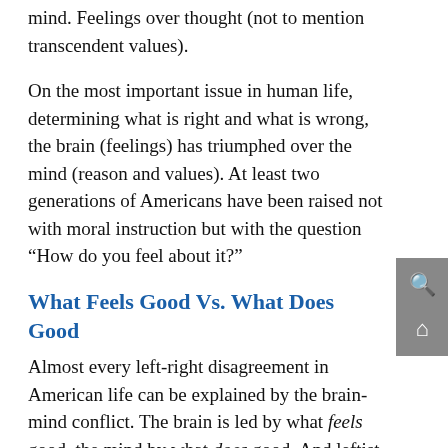mind. Feelings over thought (not to mention transcendent values).
On the most important issue in human life, determining what is right and what is wrong, the brain (feelings) has triumphed over the mind (reason and values). At least two generations of Americans have been raised not with moral instruction but with the question “How do you feel about it?”
What Feels Good Vs. What Does Good
Almost every left-right disagreement in American life can be explained by the brain-mind conflict. The brain is led by what feels good, the mind by what does good. And leftist positions feel good.
It feels good to allow anyone who wants to enter America to do so. But if America is worth preserving, the mind understands that the right policy cannot be determined by feelings.